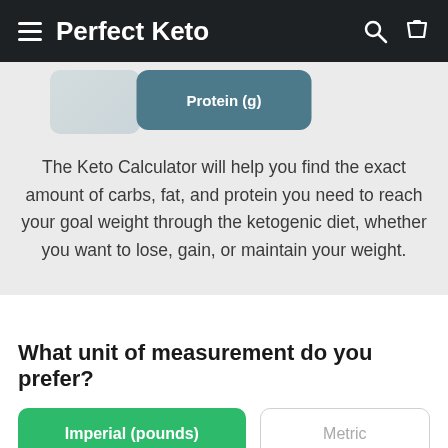Perfect Keto
[Figure (screenshot): A teal/blue rounded rectangle card showing 'Protein (g)' label, partially visible at the top of the content area]
The Keto Calculator will help you find the exact amount of carbs, fat, and protein you need to reach your goal weight through the ketogenic diet, whether you want to lose, gain, or maintain your weight.
What unit of measurement do you prefer?
Imperial (pounds)
Metric